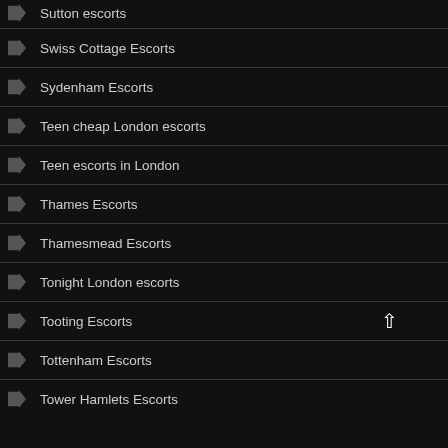Sutton escorts
Swiss Cottage Escorts
Sydenham Escorts
Teen cheap London escorts
Teen escorts in London
Thames Escorts
Thamesmead Escorts
Tonight London escorts
Tooting Escorts
Tottenham Escorts
Tower Hamlets Escorts